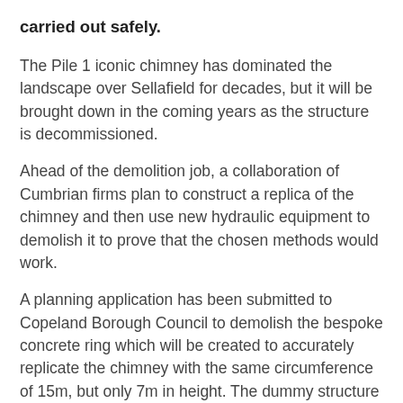carried out safely.
The Pile 1 iconic chimney has dominated the landscape over Sellafield for decades, but it will be brought down in the coming years as the structure is decommissioned.
Ahead of the demolition job, a collaboration of Cumbrian firms plan to construct a replica of the chimney and then use new hydraulic equipment to demolish it to prove that the chosen methods would work.
A planning application has been submitted to Copeland Borough Council to demolish the bespoke concrete ring which will be created to accurately replicate the chimney with the same circumference of 15m, but only 7m in height. The dummy structure will be cut down with a newly developed Hydraulic SPIDA machine designed by ADAPT, a joint venture consisting of companies Doosan Babcock, Atkins and Orano.
The SPIDA structure is being fabricated by Glasgow company Cairnhill Structures. It is planned that the machine and the mock concrete barrel will be transported to Leconfield Industrial Estate, in Cleator Moor, to be tested and commissioned before two rows...